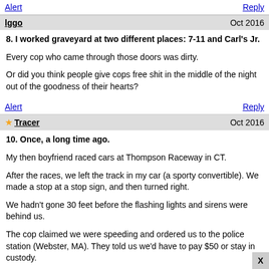Alert
Reply
lggo   Oct 2016
8. I worked graveyard at two different places: 7-11 and Carl's Jr.
Every cop who came through those doors was dirty.
Or did you think people give cops free shit in the middle of the night out of the goodness of their hearts?
Alert
Reply
Tracer   Oct 2016
10. Once, a long time ago.
My then boyfriend raced cars at Thompson Raceway in CT.
After the races, we left the track in my car (a sporty convertible). We made a stop at a stop sign, and then turned right.
We hadn't gone 30 feet before the flashing lights and sirens were behind us.
The cop claimed we were speeding and ordered us to the police station (Webster, MA). They told us we'd have to pay $50 or stay in custody.